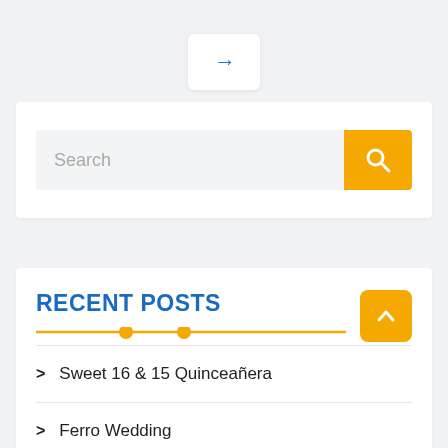[Figure (other): Navigation arrow button pointing right, white rounded rectangle with blue arrow icon, on light grey background]
[Figure (other): Search bar with grey input field showing placeholder text 'Search' and orange search button with magnifying glass icon]
RECENT POSTS
Sweet 16 & 15 Quinceañera
Ferro Wedding